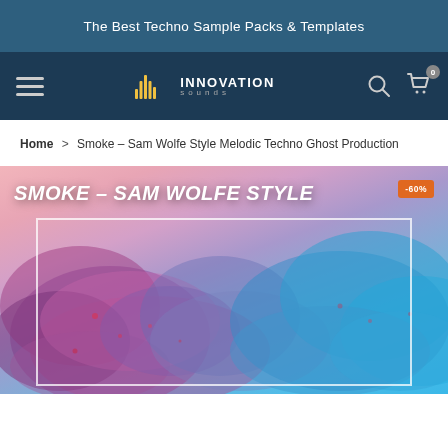The Best Techno Sample Packs & Templates
[Figure (logo): Innovation Sounds logo with equalizer bar icon and text]
Home > Smoke – Sam Wolfe Style Melodic Techno Ghost Production
[Figure (photo): Product cover art for Smoke – Sam Wolfe Style Melodic Techno Ghost Production, showing purple and blue smoke clouds on a pink background with white text overlay and -60% discount badge]